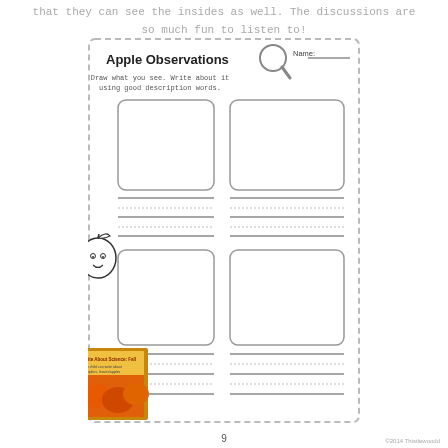that they can see the insides as well. The discussions are so much fun to listen to!
[Figure (illustration): Apple Observations student worksheet with title, magnifying glass icon, Name field, instructions to draw and write using good description words, four large rounded drawing boxes (2x2 grid), writing lines below each box, a cartoon apple character on the left margin, and a book cover photo in the bottom left corner.]
9
©2014 Thistlewoodd